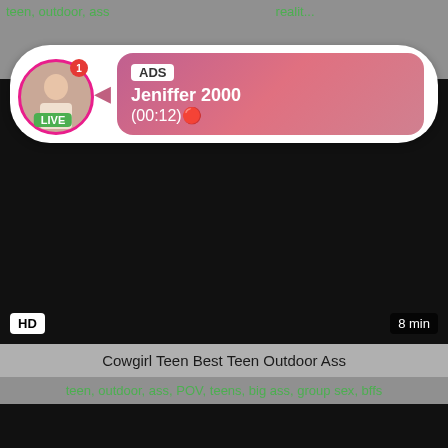teen, outdoor, ass, POV, teens, realit...
[Figure (screenshot): Ad overlay with live avatar of Jeniffer 2000, showing LIVE badge, ADS label, name and timer (00:12)]
[Figure (screenshot): Dark video thumbnail with HD badge bottom left and 8 min duration bottom right]
Cowgirl Teen Best Teen Outdoor Ass
teen, outdoor, ass, POV, teens, big ass, group sex, bffs
[Figure (screenshot): Dark video thumbnail at bottom of page]